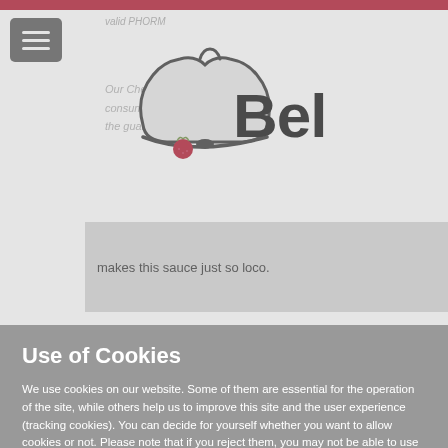[Figure (logo): Bell food company logo with a bell shape and a red tomato/strawberry accent, with the text 'Bell' in large black letters]
makes this sauce just so loco.
Use of Cookies
We use cookies on our website. Some of them are essential for the operation of the site, while others help us to improve this site and the user experience (tracking cookies). You can decide for yourself whether you want to allow cookies or not. Please note that if you reject them, you may not be able to use all the functionalities of the site.
Accept all Cookies
Accept only necessary Cookies
More information | Imprint